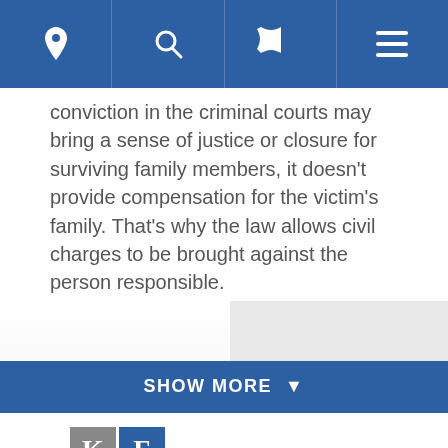[Figure (screenshot): Mobile navigation bar with location pin, search, phone, and menu icons on dark blue background]
conviction in the criminal courts may bring a sense of justice or closure for surviving family members, it doesn't provide compensation for the victim's family. That's why the law allows civil charges to be brought against the person responsible.
[Figure (other): Show More button bar with dark blue background and downward arrow]
[Figure (logo): Kearney, Freeman, Fogarty & Joshi, PLLC law firm logo with KFFJ letter grid]
[Figure (other): Desktop Site button in teal/cyan color]
LIVE CHAT | START NOW